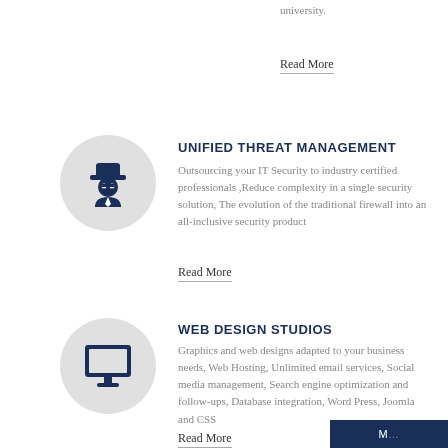university.
Read More
[Figure (illustration): Dark navy spy/detective figure icon in a gray circle]
UNIFIED THREAT MANAGEMENT
Outsourcing your IT Security to industry certified professionals ,Reduce complexity in a single security solution, The evolution of the traditional firewall into an all-inclusive security product
Read More
[Figure (illustration): Dark navy desktop monitor icon in a gray circle]
WEB DESIGN STUDIOS
Graphics and web designs adapted to your business needs, Web Hosting, Unlimited email services, Social media management, Search engine optimization and follow-ups, Database integration, Word Press, Joomla and CSS
Read More